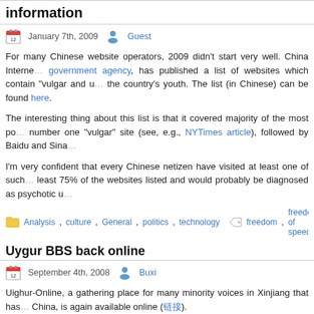information
January 7th, 2009   Guest
For many Chinese website operators, 2009 didn't start very well. China Internet… government agency, has published a list of websites which contain "vulgar and u… the country's youth. The list (in Chinese) can be found here.
The interesting thing about this list is that it covered majority of the most po… number one "vulgar" site (see, e.g., NYTimes article), followed by Baidu and Sina…
I'm very confident that every Chinese netizen have visited at least one of such … least 75% of the websites listed and would probably be diagnosed as psychotic u…
Analysis, culture, General, politics, technology   freedom, freedom of speech, g…
Uygur BBS back online
September 4th, 2008   Buxi
Uighur-Online, a gathering place for many minority voices in Xinjiang that has… China, is again available online (链接).
Read more…
News   internet, minorities, uygur, xinjiang
Chinese opinions of the Internet
June 13th, 2008   Buxi